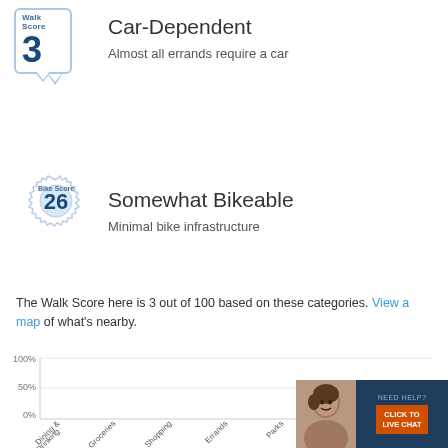[Figure (infographic): Walk Score badge showing score of 3 with pointer arrow]
Car-Dependent
Almost all errands require a car
[Figure (infographic): Bike Score badge with gear icon showing score of 26]
Somewhat Bikeable
Minimal bike infrastructure
The Walk Score here is 3 out of 100 based on these categories. View a map of what's nearby.
[Figure (bar-chart): Walk Score categories]